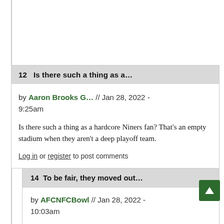12   Is there such a thing as a...
by Aaron Brooks G... // Jan 28, 2022 - 9:25am
Is there such a thing as a hardcore Niners fan? That’s an empty stadium when they aren’t a deep playoff team.
Log in or register to post comments
14   To be fair, they moved out...
by AFCNFCBowl // Jan 28, 2022 - 10:03am